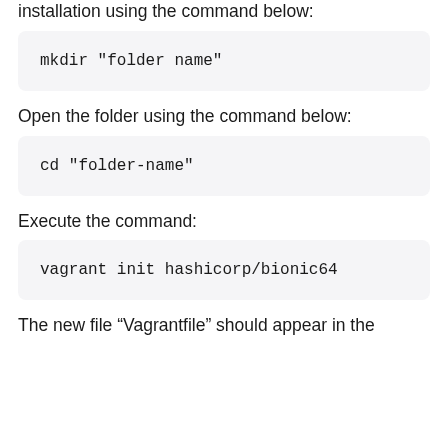installation using the command below:
mkdir "folder name"
Open the folder using the command below:
cd "folder-name"
Execute the command:
vagrant init hashicorp/bionic64
The new file “Vagrantfile” should appear in the